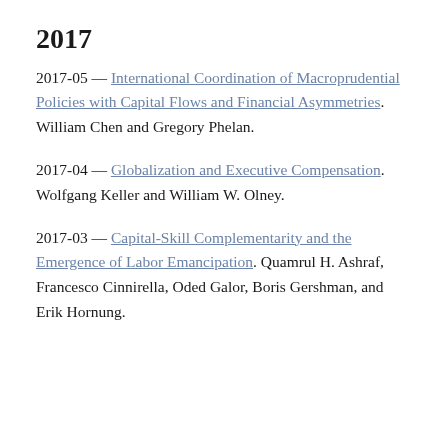2017
2017-05 — International Coordination of Macroprudential Policies with Capital Flows and Financial Asymmetries. William Chen and Gregory Phelan.
2017-04 — Globalization and Executive Compensation. Wolfgang Keller and William W. Olney.
2017-03 — Capital-Skill Complementarity and the Emergence of Labor Emancipation. Quamrul H. Ashraf, Francesco Cinnirella, Oded Galor, Boris Gershman, and Erik Hornung.